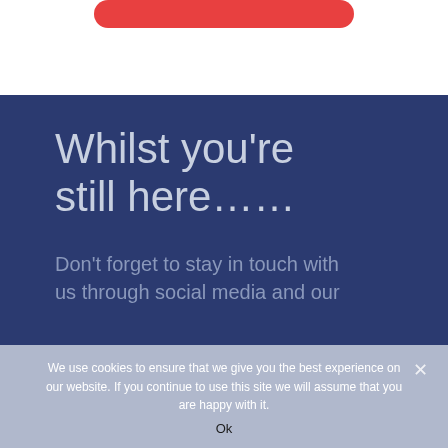[Figure (other): Red rounded rectangle button at top of page on white background]
Whilst you're still here……
Don't forget to stay in touch with us through social media and our
We use cookies to ensure that we give you the best experience on our website. If you continue to use this site we will assume that you are happy with it.
Ok